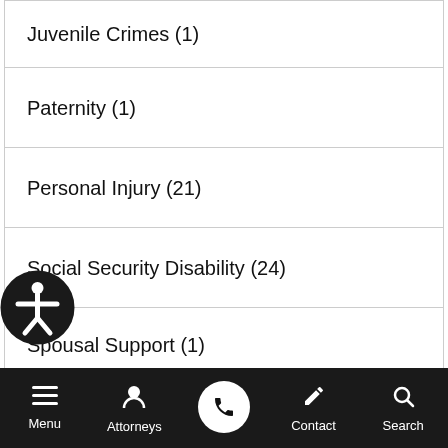Juvenile Crimes  (1)
Paternity  (1)
Personal Injury  (21)
Social Security Disability  (24)
Spousal Support  (1)
Tax law  (36)
Uncategorized  (5)
Uncontested Divorce  (1)
Menu   Attorneys   [phone]   Contact   Search